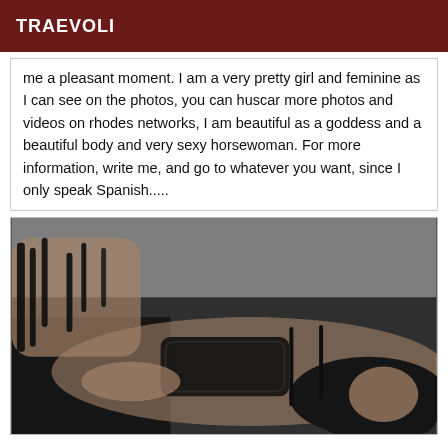TRAEVOLI
me a pleasant moment. I am a very pretty girl and feminine as I can see on the photos, you can huscar more photos and videos on rhodes networks, I am beautiful as a goddess and a beautiful body and very sexy horsewoman. For more information, write me, and go to whatever you want, since I only speak Spanish.....
[Figure (photo): Woman in black lingerie reclining on a dark sofa/couch, viewed from above, with dark hair, wearing black lace undergarments and black strappy heels]